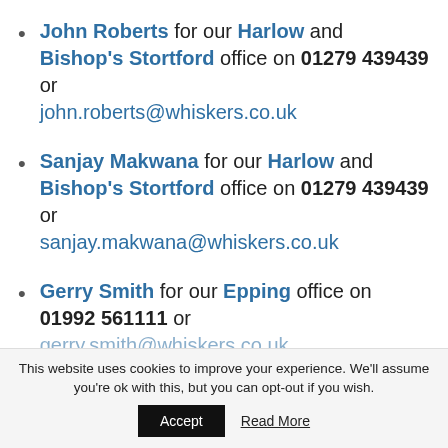John Roberts for our Harlow and Bishop's Stortford office on 01279 439439 or john.roberts@whiskers.co.uk
Sanjay Makwana for our Harlow and Bishop's Stortford office on 01279 439439 or sanjay.makwana@whiskers.co.uk
Gerry Smith for our Epping office on 01992 561111 or gerry.smith@whiskers.co.uk
This website uses cookies to improve your experience. We'll assume you're ok with this, but you can opt-out if you wish.